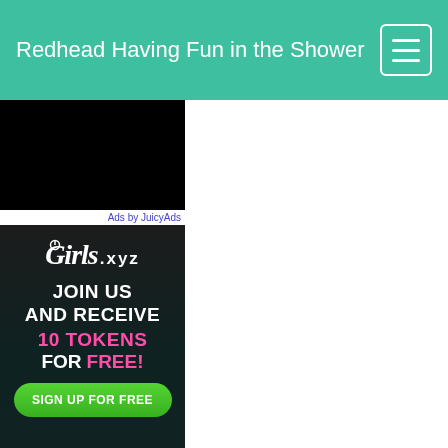Redhead Having Fun in the Shower
[Figure (screenshot): Advertisement banner: top black video block, then Girls.xyz ad with text JOIN US AND RECEIVE 10 TOKENS FOR FREE! and SIGN UP FOR FREE green button]
Ads by JuicyAds